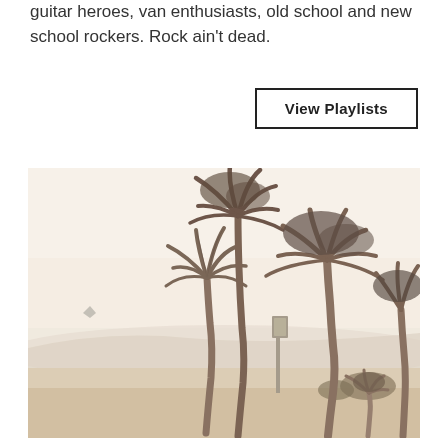guitar heroes, van enthusiasts, old school and new school rockers. Rock ain't dead.
View Playlists
[Figure (photo): Sepia-toned beach scene with several tall palm trees against a hazy sky, sandy ground in the foreground, distant mountains, and a street sign pole visible.]